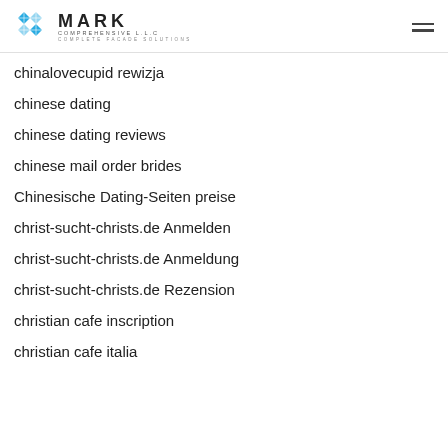MARK COMPREHENSIVE L.L.C — COMPLETE FACADE SOLUTIONS
chinalovecupid rewizja
chinese dating
chinese dating reviews
chinese mail order brides
Chinesische Dating-Seiten preise
christ-sucht-christs.de Anmelden
christ-sucht-christs.de Anmeldung
christ-sucht-christs.de Rezension
christian cafe inscription
christian cafe italia